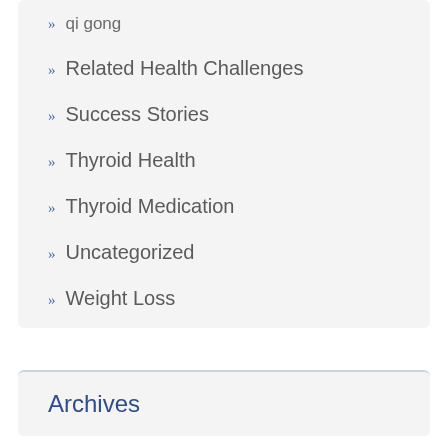» qi gong
» Related Health Challenges
» Success Stories
» Thyroid Health
» Thyroid Medication
» Uncategorized
» Weight Loss
Archives